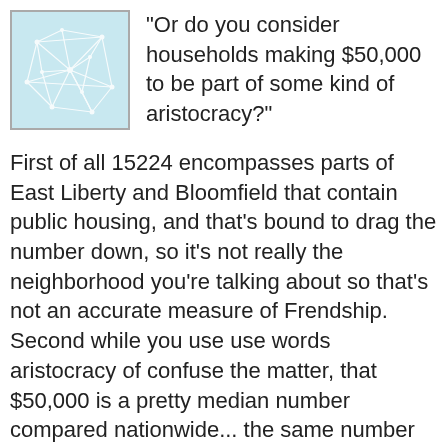[Figure (illustration): Small square avatar image with white geometric network/web pattern on light blue background]
"Or do you consider households making $50,000 to be part of some kind of aristocracy?"
First of all 15224 encompasses parts of East Liberty and Bloomfield that contain public housing, and that's bound to drag the number down, so it's not really the neighborhood you're talking about so that's not an accurate measure of Frendship. Second while you use use words aristocracy of confuse the matter, that $50,000 is a pretty median number compared nationwide... the same number for the